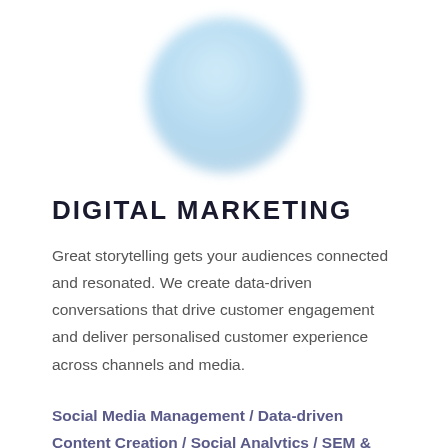[Figure (illustration): Light blue gradient circle with soft blur, centered at the top of the page]
DIGITAL MARKETING
Great storytelling gets your audiences connected and resonated. We create data-driven conversations that drive customer engagement and deliver personalised customer experience across channels and media.
Social Media Management / Data-driven Content Creation / Social Analytics / SEM & SEM / Google Ads / Programmatic